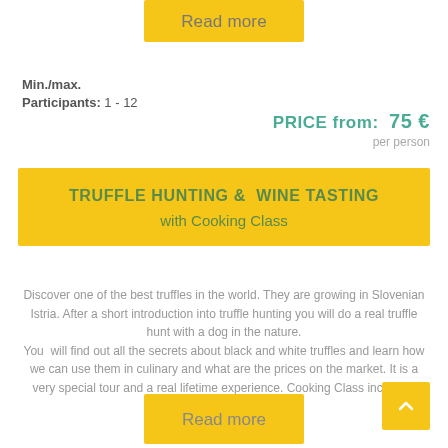Read more
Min./max.
Participants: 1 - 12
PRICE from:  75 €
per person
TRUFFLE HUNTING &  WINE TASTING with Cooking Class
Discover one of the best truffles in the world. They are growing in Slovenian Istria. After a short introduction into truffle hunting you will do a real truffle hunt with a dog in the nature. You  will find out all the secrets about black and white truffles and learn how we can use them in culinary and what are the prices on the market. It is a very special tour and a real lifetime experience. Cooking Class included!
Read more